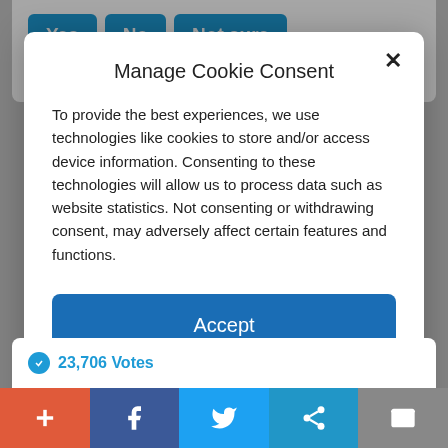Yes  No  Not sure
19,103 Votes
Manage Cookie Consent
To provide the best experiences, we use technologies like cookies to store and/or access device information. Consenting to these technologies will allow us to process data such as website statistics. Not consenting or withdrawing consent, may adversely affect certain features and functions.
Accept
Cookie Policy  Privacy Policy
23,706 Votes